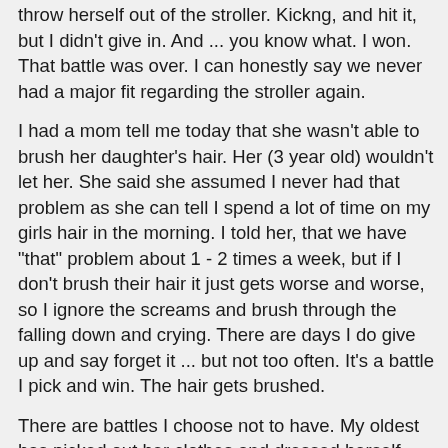throw herself out of the stroller. Kickng, and hit it, but I didn't give in.  And ... you know what.  I won.  That battle was over.  I can honestly say we never had a major fit regarding the stroller again.
I had a mom tell me today that she wasn't able to brush her daughter's hair.  Her (3 year old) wouldn't let her.  She said she assumed I never had that problem as she can tell I spend a lot of time on my girls hair in the morning.  I told her, that we have "that" problem about 1 - 2 times a week, but if I don't brush their hair it just gets worse and worse, so I ignore the screams and brush through the falling down and crying.  There are days I do give up and say forget it ... but not too often.  It's a battle I pick and win.  The hair gets brushed.
There are battles I choose not to have.  My oldest has picked out her clothes and dressed herself since she was 2.  She has her own unique style and that's OK with me.  I know moms who don't have this option for their child.
The point is, sometimes we as moms need to be reminded, who is in charge?  When we say our child "refuses xyz" are we really thinking about what it will be like at 13 or 14 and...